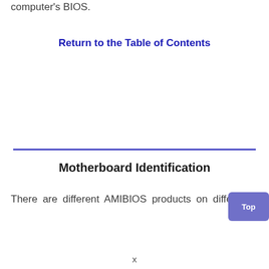computer's BIOS.
Return to the Table of Contents
Motherboard Identification
There are different AMIBIOS products on different